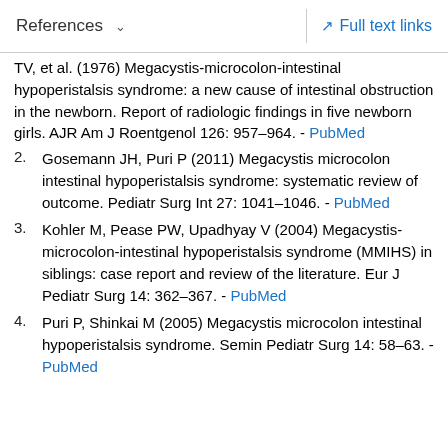References  ∨    Full text links
TV, et al. (1976) Megacystis-microcolon-intestinal hypoperistalsis syndrome: a new cause of intestinal obstruction in the newborn. Report of radiologic findings in five newborn girls. AJR Am J Roentgenol 126: 957–964. - PubMed
2. Gosemann JH, Puri P (2011) Megacystis microcolon intestinal hypoperistalsis syndrome: systematic review of outcome. Pediatr Surg Int 27: 1041–1046. - PubMed
3. Kohler M, Pease PW, Upadhyay V (2004) Megacystis-microcolon-intestinal hypoperistalsis syndrome (MMIHS) in siblings: case report and review of the literature. Eur J Pediatr Surg 14: 362–367. - PubMed
4. Puri P, Shinkai M (2005) Megacystis microcolon intestinal hypoperistalsis syndrome. Semin Pediatr Surg 14: 58–63. - PubMed